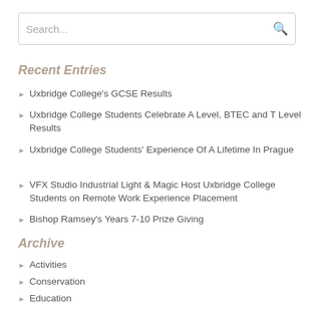[Figure (screenshot): Search input box with placeholder text 'Search...' and magnifying glass icon]
Recent Entries
Uxbridge College's GCSE Results
Uxbridge College Students Celebrate A Level, BTEC and T Level Results
Uxbridge College Students' Experience Of A Lifetime In Prague
VFX Studio Industrial Light & Magic Host Uxbridge College Students on Remote Work Experience Placement
Bishop Ramsey's Years 7-10 Prize Giving
Archive
Activities
Conservation
Education
Primary
Secondary